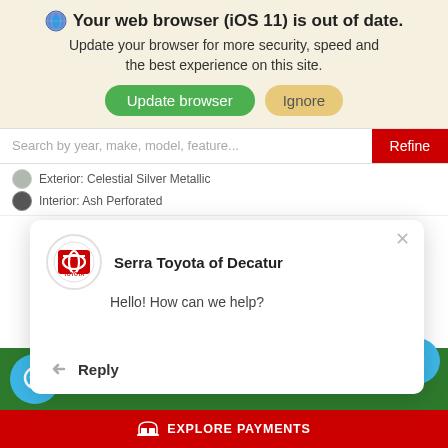[Figure (screenshot): Browser update notification banner with globe icon, bold title 'Your web browser (iOS 11) is out of date.', subtitle text, and two buttons: 'Update browser' (green) and 'Ignore' (tan/gold)]
Search by year, make, model, feature...
Exterior: Celestial Silver Metallic
Interior: Ash Perforated
[Figure (screenshot): Chat popup from Serra Toyota of Decatur with Toyota logo, greeting 'Hello! How can we help?' and Reply button with back-arrow icon. Also shows MSRP $34,514, chat bubble button, green bar with 'Cal' text, 'Value Your Trade' red pill button, accessibility icon, and red 'EXPLORE PAYMENTS' bar at bottom.]
MSRP
$34,514
Value Your Trade
EXPLORE PAYMENTS